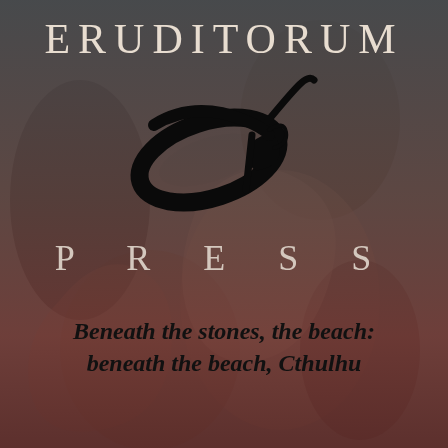[Figure (logo): Eruditorum Press logo page with dark moody background artwork (classical figures in dark tones), overlaid with the Eruditorum Press logo (stylized EP monogram with calligraphic swoosh), the word PRESS in spaced capitals, and a tagline in bold italic.]
ERUDITORUM
PRESS
Beneath the stones, the beach: beneath the beach, Cthulhu